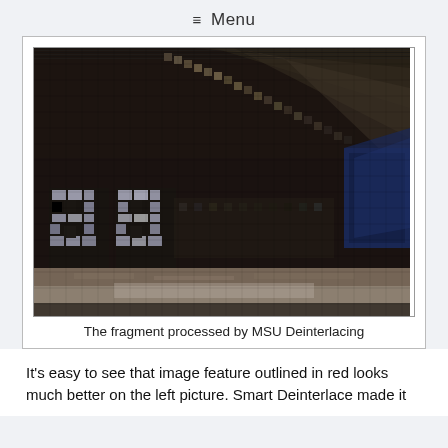≡ Menu
[Figure (photo): A pixelated/blocky fragment of a video frame processed by MSU Deinterlacing filter, showing a dark scene with visible interlacing artifacts and two bright rectangular shapes (number '88') on the left side.]
The fragment processed by MSU Deinterlacing
It's easy to see that image feature outlined in red looks much better on the left picture. Smart Deinterlace made it